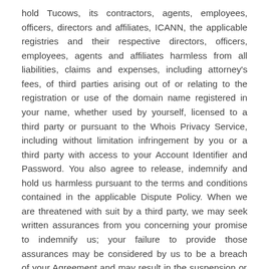hold Tucows, its contractors, agents, employees, officers, directors and affiliates, ICANN, the applicable registries and their respective directors, officers, employees, agents and affiliates harmless from all liabilities, claims and expenses, including attorney's fees, of third parties arising out of or relating to the registration or use of the domain name registered in your name, whether used by yourself, licensed to a third party or pursuant to the Whois Privacy Service, including without limitation infringement by you or a third party with access to your Account Identifier and Password. You also agree to release, indemnify and hold us harmless pursuant to the terms and conditions contained in the applicable Dispute Policy. When we are threatened with suit by a third party, we may seek written assurances from you concerning your promise to indemnify us; your failure to provide those assurances may be considered by us to be a breach of your Agreement and may result in the suspension or